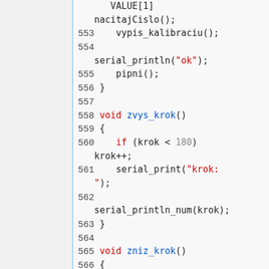[Figure (screenshot): Source code editor showing lines 552-569 of a program in a C-like language (likely Arduino/C++). The code shows functions zvys_krok() and zniz_krok() with serial print statements and conditional logic. Line numbers are shown, with keywords in red and string literals in red, function names in blue.]